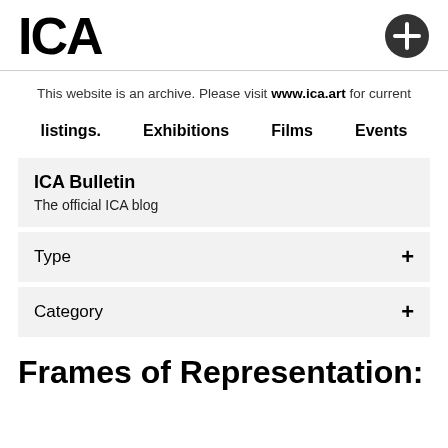[Figure (logo): ICA logo — bold black text 'ICA' on white background, with a dark circle containing a white plus sign on the right]
This website is an archive. Please visit www.ica.art for current listings.
Exhibitions    Films    Events
ICA Bulletin
The official ICA blog
Type +
Category +
Frames of Representation: